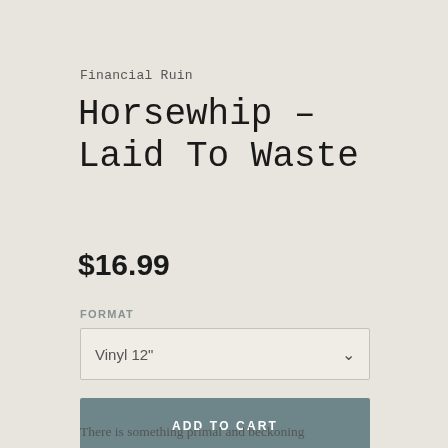Financial Ruin
Horsewhip - Laid To Waste
$16.99
FORMAT
Vinyl 12"
ADD TO CART
There is something primal and beckoning